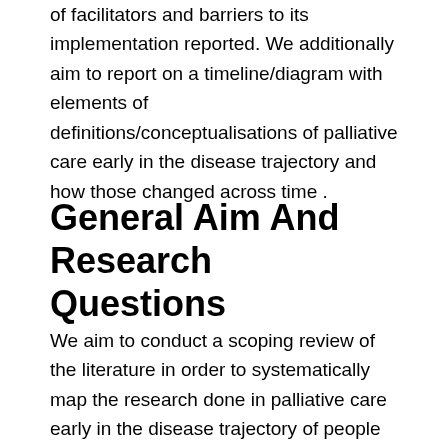of facilitators and barriers to its implementation reported. We additionally aim to report on a timeline/diagram with elements of definitions/conceptualisations of palliative care early in the disease trajectory and how those changed across time .
General Aim And Research Questions
We aim to conduct a scoping review of the literature in order to systematically map the research done in palliative care early in the disease trajectory of people living with mild and moderate dementia, as well as to identify any existing gaps in knowledge, current scientific debates and conceptualisations. Early palliative care in this study is defined as âin the early stages of the disease trajectory of dementiaâ, starting from diagnosis. Hence, not focused on